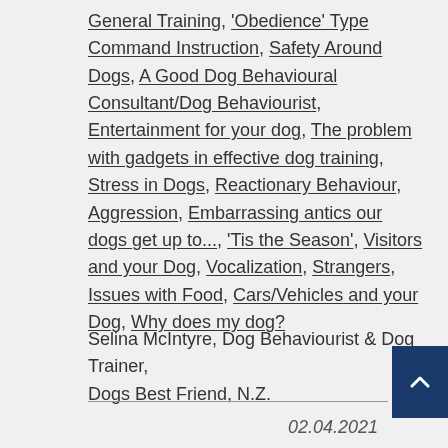General Training, 'Obedience' Type Command Instruction, Safety Around Dogs, A Good Dog Behavioural Consultant/Dog Behaviourist, Entertainment for your dog, The problem with gadgets in effective dog training, Stress in Dogs, Reactionary Behaviour, Aggression, Embarrassing antics our dogs get up to..., 'Tis the Season', Visitors and your Dog, Vocalization, Strangers, Issues with Food, Cars/Vehicles and your Dog, Why does my dog?
Selina McIntyre, Dog Behaviourist & Dog Trainer, Dogs Best Friend, N.Z.
02.04.2021